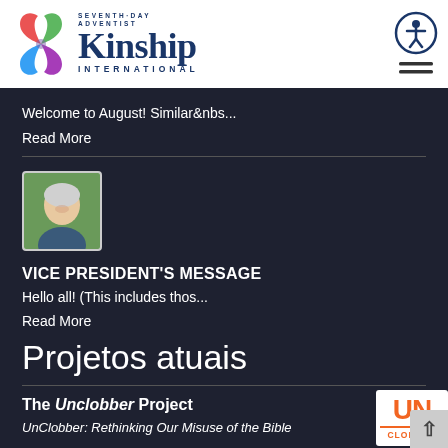[Figure (logo): Seventh-Day Adventist Kinship International logo with colorful triquetra symbol and navy blue text]
[Figure (logo): Accessibility icon - person in circle with hamburger menu lines below]
Welcome to August! Similar&nbs...
Read More
[Figure (photo): Profile photo of a person with white/grey hair, smiling, outdoors]
VICE PRESIDENT'S MESSAGE
Hello all! (This includes thos...
Read More
Projetos atuais
The Unclobber Project
UnClobber: Rethinking Our Misuse of the Bible
[Figure (logo): UN CLOBBER orange and white logo box]